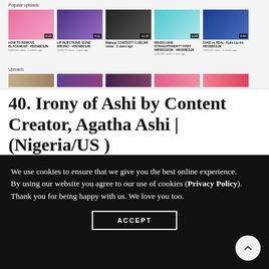[Figure (screenshot): YouTube channel page showing Popular uploads section with 5 video thumbnails (HOW TO REMOVE BLACKHEAD, LIP INJECTIONS GONE WRONG, Makeup CONTEST?, BRUSH HAIR STRAIGHTENER?? FIRST IMPRESSION, FAKE vs REAL: Kylie Lip Kit) and an Uploads row below with 5 more thumbnails]
40. Irony of Ashi by Content Creator, Agatha Ashi | (Nigeria/US )
A Houston-based, Nigerian-born creative shares her
We use cookies to ensure that we give you the best online experience. By using our website you agree to our use of cookies (Privacy Policy). Thank you for being happy with us. We love you too.
ACCEPT